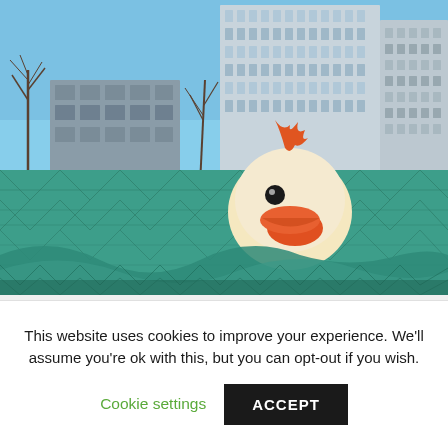[Figure (photo): A rubber duck toy with orange beak and red hair tuft peeks out from a teal/green construction net or mesh, with a large modern high-rise apartment building and bare winter trees visible in the background against a blue sky.]
This website uses cookies to improve your experience. We'll assume you're ok with this, but you can opt-out if you wish.
Cookie settings
ACCEPT